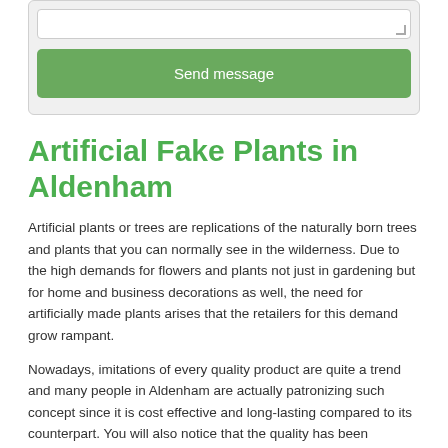[Figure (screenshot): A form area with a textarea and a green 'Send message' button on a light gray background]
Artificial Fake Plants in Aldenham
Artificial plants or trees are replications of the naturally born trees and plants that you can normally see in the wilderness. Due to the high demands for flowers and plants not just in gardening but for home and business decorations as well, the need for artificially made plants arises that the retailers for this demand grow rampant.
Nowadays, imitations of every quality product are quite a trend and many people in Aldenham are actually patronizing such concept since it is cost effective and long-lasting compared to its counterpart. You will also notice that the quality has been standardized that no one would think at first glance that it is just a replica unless of course, you would take a closer look.